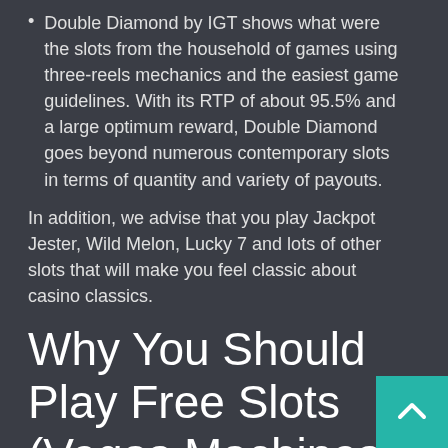Double Diamond by IGT shows what were the slots from the household of games using three-reels mechanics and the easiest game guidelines. With its RTP of about 95.5% and a large optimum reward, Double Diamond goes beyond numerous contemporary slots in terms of quantity and variety of payouts.
In addition, we advise that you play Jackpot Jester, Wild Melon, Lucky 7 and lots of other slots that will make you feel classic about casino classics.
Why You Should Play Free Slots (Vegas Machines)